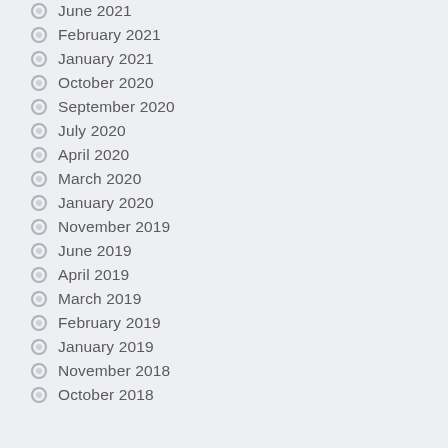June 2021
February 2021
January 2021
October 2020
September 2020
July 2020
April 2020
March 2020
January 2020
November 2019
June 2019
April 2019
March 2019
February 2019
January 2019
November 2018
October 2018